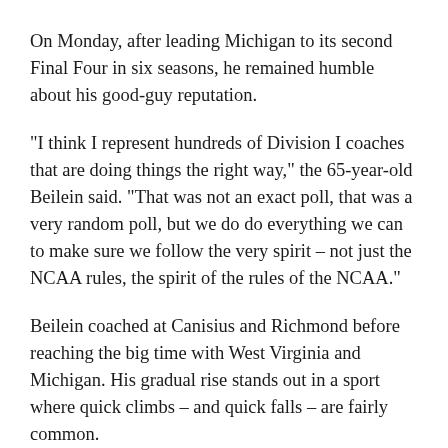On Monday, after leading Michigan to its second Final Four in six seasons, he remained humble about his good-guy reputation.
"I think I represent hundreds of Division I coaches that are doing things the right way," the 65-year-old Beilein said. "That was not an exact poll, that was a very random poll, but we do do everything we can to make sure we follow the very spirit – not just the NCAA rules, the spirit of the rules of the NCAA."
Beilein coached at Canisius and Richmond before reaching the big time with West Virginia and Michigan. His gradual rise stands out in a sport where quick climbs – and quick falls – are fairly common.